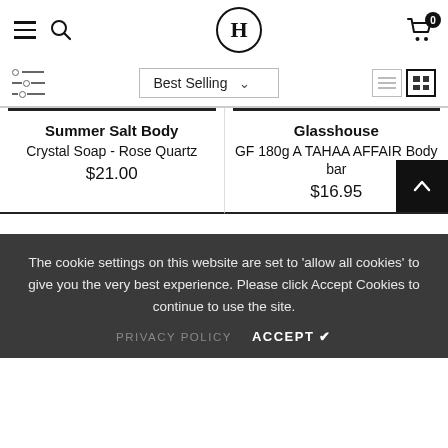H (logo) - navigation header with hamburger, search, logo H, cart (0)
Best Selling (sort dropdown)
Summer Salt Body
Crystal Soap - Rose Quartz
$21.00
Glasshouse
GF 180g A TAHAA AFFAIR Body bar
$16.95
The cookie settings on this website are set to 'allow all cookies' to give you the very best experience. Please click Accept Cookies to continue to use the site.
PRIVACY POLICY   ACCEPT ✔